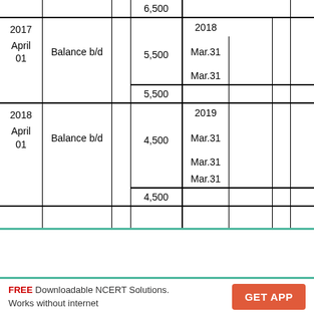| Date | Particulars |  | Amount | Date | Particulars |  | Amount |
| --- | --- | --- | --- | --- | --- | --- | --- |
|  |  |  | 6,500 |  |  |  |  |
| 2017 |  |  |  | 2018 |  |  |  |
| April 01 | Balance b/d |  | 5,500 | Mar.31 |  |  |  |
|  |  |  |  | Mar.31 |  |  |  |
|  |  |  | 5,500 |  |  |  |  |
| 2018 |  |  |  | 2019 |  |  |  |
| April 01 | Balance b/d |  | 4,500 | Mar.31 |  |  |  |
|  |  |  |  | Mar.31 |  |  |  |
|  |  |  |  | Mar.31 |  |  |  |
|  |  |  | 4,500 |  |  |  |  |
|  |  |  |  |  |  |  |  |
FREE Downloadable NCERT Solutions. Works without internet
GET APP